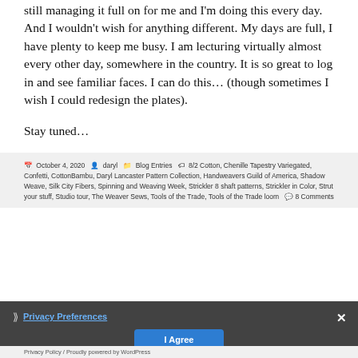still managing it full on for me and I'm doing this every day.  And I wouldn't wish for anything different.  My days are full, I have plenty to keep me busy.  I am lecturing virtually almost every other day, somewhere in the country.  It is so great to log in and see familiar faces.  I can do this… (though sometimes I wish I could redesign the plates).
Stay tuned…
Posted October 4, 2020  Author daryl  Categories Blog Entries  Tags 8/2 Cotton, Chenille Tapestry Variegated, Confetti, CottonBambu, Daryl Lancaster Pattern Collection, Handweavers Guild of America, Shadow Weave, Silk City Fibers, Spinning and Weaving Week, Strickler 8 shaft patterns, Strickler in Color, Strut your stuff, Studio tour, The Weaver Sews, Tools of the Trade, Tools of the Trade loom  8 Comments
Privacy Preferences
I Agree
Privacy Policy / Proudly powered by WordPress